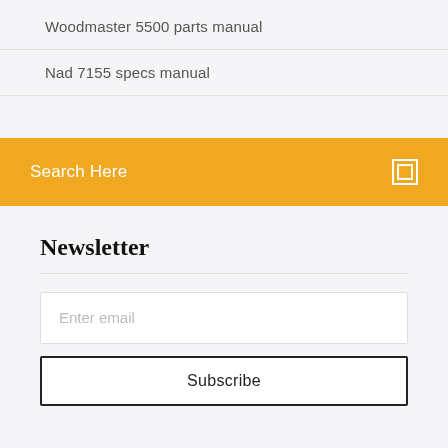Woodmaster 5500 parts manual
Nad 7155 specs manual
(partial, clipped)
Search Here
Newsletter
Enter email
Subscribe